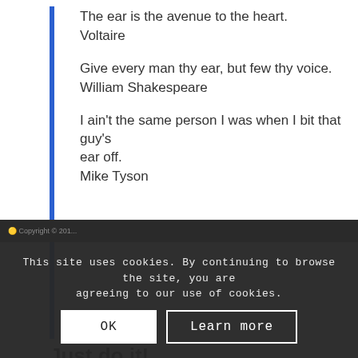The ear is the avenue to the heart.
Voltaire
Give every man thy ear, but few thy voice.
William Shakespeare
I ain't the same person I was when I bit that guy's ear off.
Mike Tyson
Just do it!
While we aren't sure what “it” is, we do know that today should be fun. Remember this old adage: Never stick anything smaller than your elbow in your ear. If you can do that, you either have a tiny elbow or a huge elephantine ear–or both–and you deserve a holiday of your own. (Call us!)
This site uses cookies. By continuing to browse the site, you are agreeing to our use of cookies.